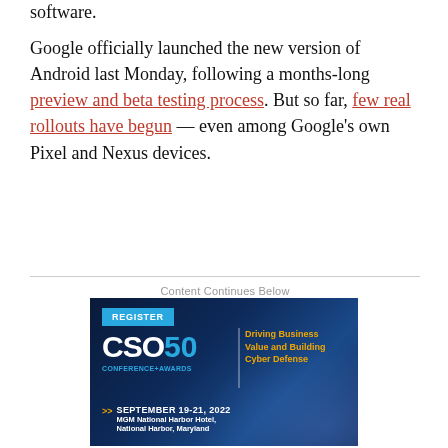software.
Google officially launched the new version of Android last Monday, following a months-long preview and beta testing process. But so far, few real rollouts have begun — even among Google's own Pixel and Nexus devices.
Content Continues Below
[Figure (infographic): CSO50 Conference+Awards advertisement. Blue background with cyan 'REGISTER' button, CSO50 logo in white and cyan, orange tagline 'Driving Business Value and Building Cyber Defense', date SEPTEMBER 19-21, 2022, MGM National Harbor Hotel, National Harbor, Maryland.]